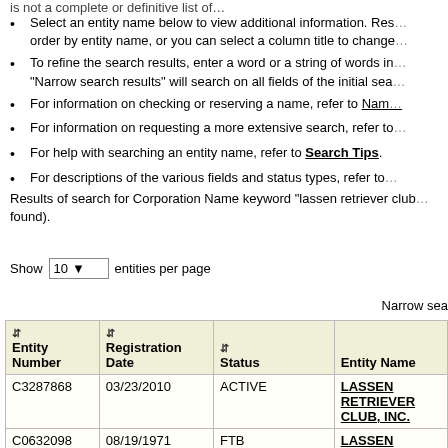Select an entity name below to view additional information. Results are displayed in order by entity name, or you can select a column title to change the sort order.
To refine the search results, enter a word or a string of words in the box below. "Narrow search results" will search on all fields of the initial search results only.
For information on checking or reserving a name, refer to Name Availability.
For information on requesting a more extensive search, refer to [link].
For help with searching an entity name, refer to Search Tips.
For descriptions of the various fields and status types, refer to [link].
Results of search for Corporation Name keyword "lassen retriever club" (2 found).
Show 10 entities per page
Narrow sea
| Entity Number | Registration Date | Status | Entity Name |
| --- | --- | --- | --- |
| C3287868 | 03/23/2010 | ACTIVE | LASSEN RETRIEVER CLUB, INC. |
| C0632098 | 08/19/1971 | FTB SUSPENDED | LASSEN RETRIEVER |